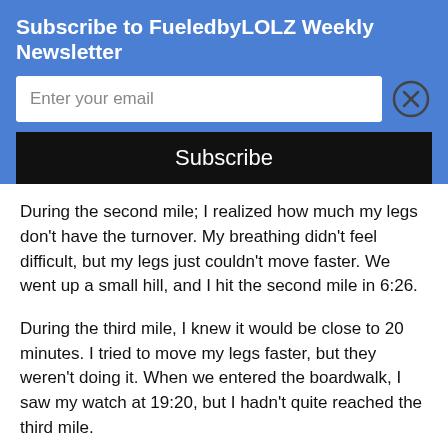Subscribe to FueledbyLOLZ Weekly Newsletter
During the second mile; I realized how much my legs don't have the turnover. My breathing didn't feel difficult, but my legs just couldn't move faster. We went up a small hill, and I hit the second mile in 6:26.
During the third mile, I knew it would be close to 20 minutes. I tried to move my legs faster, but they weren't doing it. When we entered the boardwalk, I saw my watch at 19:20, but I hadn't quite reached the third mile.
The finish line felt like it wasn't getting any closer. They told women to stay left and men to stay right. I thought it was unusual for finishing. I crossed in 20:04. I was disappointed